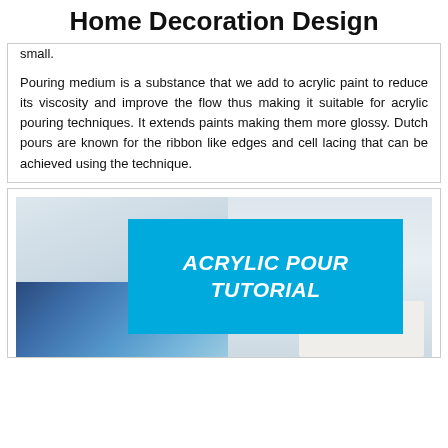Home Decoration Design
small.
Pouring medium is a substance that we add to acrylic paint to reduce its viscosity and improve the flow thus making it suitable for acrylic pouring techniques. It extends paints making them more glossy. Dutch pours are known for the ribbon like edges and cell lacing that can be achieved using the technique.
[Figure (photo): Acrylic pour tutorial image with a cyan/blue overlay box containing the text 'ACRYLIC POUR TUTORIAL' in white italic bold font. Background shows acrylic paint textures.]